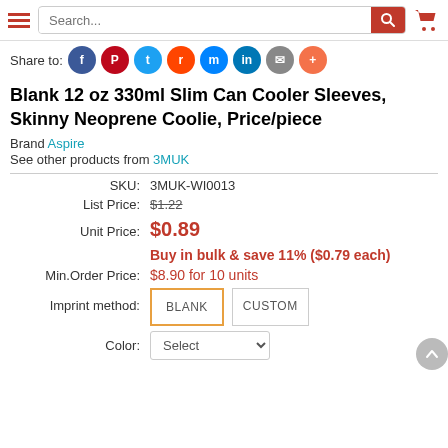Navigation bar with hamburger menu, search input, and cart icon
Share to: [social icons: Facebook, Pinterest, Twitter, Reddit, Messenger, LinkedIn, Email, More]
Blank 12 oz 330ml Slim Can Cooler Sleeves, Skinny Neoprene Coolie, Price/piece
Brand Aspire
See other products from 3MUK
| Field | Value |
| --- | --- |
| SKU: | 3MUK-WI0013 |
| List Price: | $1.22 |
| Unit Price: | $0.89 |
|  | Buy in bulk & save 11% ($0.79 each) |
| Min.Order Price: | $8.90 for 10 units |
| Imprint method: | BLANK  CUSTOM |
| Color: | Select |